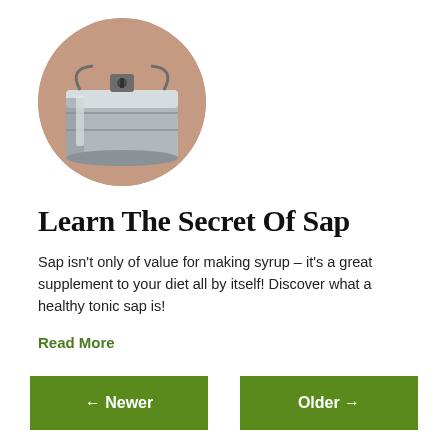[Figure (photo): Circular cropped photo showing a metal sap collection bucket attached to a tree, with a warm pinkish-brown background (bark/skin tone).]
Learn The Secret Of Sap
Sap isn't only of value for making syrup – it's a great supplement to your diet all by itself! Discover what a healthy tonic sap is!
Read More
← Newer   Older →